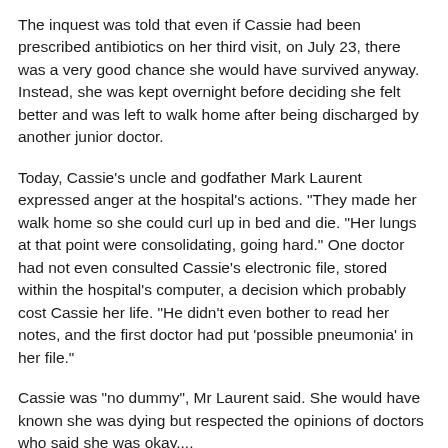The inquest was told that even if Cassie had been prescribed antibiotics on her third visit, on July 23, there was a very good chance she would have survived anyway. Instead, she was kept overnight before deciding she felt better and was left to walk home after being discharged by another junior doctor.
Today, Cassie's uncle and godfather Mark Laurent expressed anger at the hospital's actions. "They made her walk home so she could curl up in bed and die. "Her lungs at that point were consolidating, going hard." One doctor had not even consulted Cassie's electronic file, stored within the hospital's computer, a decision which probably cost Cassie her life. "He didn't even bother to read her notes, and the first doctor had put 'possible pneumonia' in her file."
Cassie was "no dummy", Mr Laurent said. She would have known she was dying but respected the opinions of doctors who said she was okay....
Experts told the inquest raised concerns that, despite Cassie's worsening condition, no one asked for a second